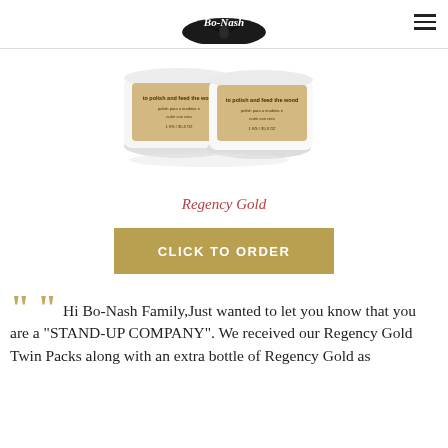Bo-Nash
[Figure (photo): Two white jars of Regency Gold product with gold/tan labels, photographed against a white background with reflection.]
Regency Gold
CLICK TO ORDER
““  Hi Bo-Nash Family,Just wanted to let you know that you are a “STAND-UP COMPANY”. We received our Regency Gold Twin Packs along with an extra bottle of Regency Gold as